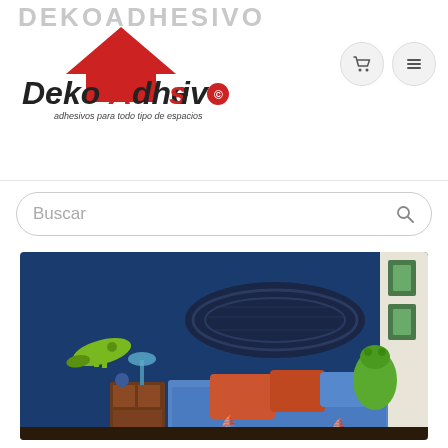DEKOADHESIVO
[Figure (logo): DekoAdhesivo logo with red house roof icon and text 'adhesivos para todo tipo de espacios']
Buscar
[Figure (photo): Children's bedroom with blue walls, a bed with blue bedspread and orange pillows, a stadium wall sticker, crocodile wall sticker, green crocodile plush toy, nightstand with lamp, and nautical themed decorations]